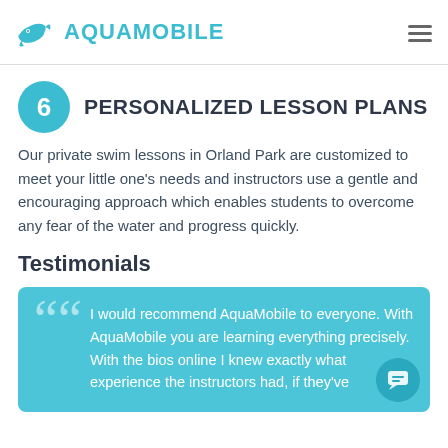AQUAMOBILE
6 PERSONALIZED LESSON PLANS
Our private swim lessons in Orland Park are customized to meet your little one's needs and instructors use a gentle and encouraging approach which enables students to overcome any fear of the water and progress quickly.
Testimonials
I would recommend AquaMobile to everyone. With AquaMobile you are learning everything precisely. With the bios online I knew exactly what experience the instructors had, if they've